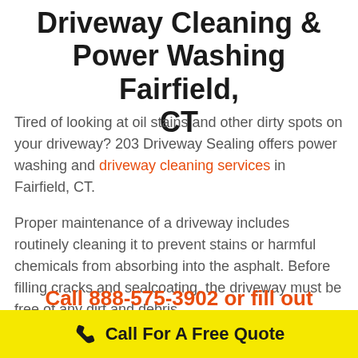Driveway Cleaning & Power Washing Fairfield, CT
Tired of looking at oil stains and other dirty spots on your driveway? 203 Driveway Sealing offers power washing and driveway cleaning services in Fairfield, CT.
Proper maintenance of a driveway includes routinely cleaning it to prevent stains or harmful chemicals from absorbing into the asphalt. Before filling cracks and sealcoating, the driveway must be free of any dirt and debris.
Call 888-575-3902 or fill out the form below to get
Call For A Free Quote